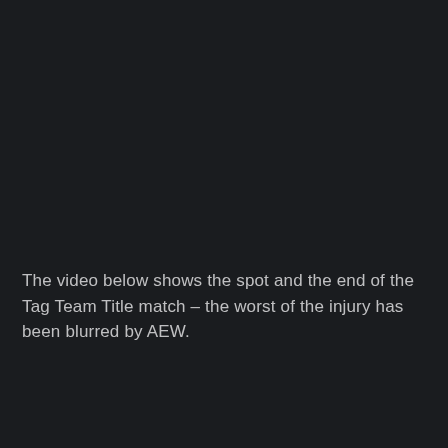The video below shows the spot and the end of the Tag Team Title match – the worst of the injury has been blurred by AEW.